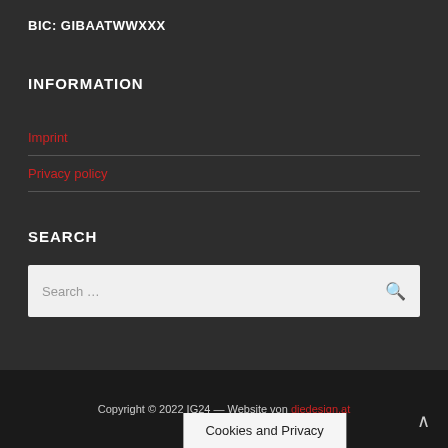BIC: GIBAATWWXXX
INFORMATION
Imprint
Privacy policy
SEARCH
Search …
Copyright © 2022 IG24 — Website von diedesign.at
Cookies and Privacy